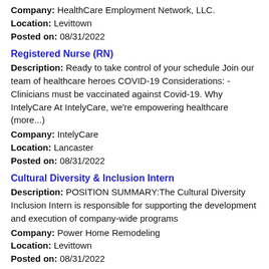Company: HealthCare Employment Network, LLC.
Location: Levittown
Posted on: 08/31/2022
Registered Nurse (RN)
Description: Ready to take control of your schedule Join our team of healthcare heroes COVID-19 Considerations: -Clinicians must be vaccinated against Covid-19. Why IntelyCare At IntelyCare, we're empowering healthcare (more...)
Company: IntelyCare
Location: Lancaster
Posted on: 08/31/2022
Cultural Diversity & Inclusion Intern
Description: POSITION SUMMARY:The Cultural Diversity Inclusion Intern is responsible for supporting the development and execution of company-wide programs
Company: Power Home Remodeling
Location: Levittown
Posted on: 08/31/2022
Salary in Camden, New Jersey Area | More details for Camden, New Jersey Jobs |Salary